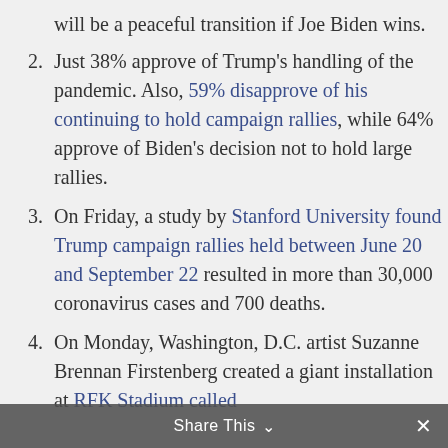will be a peaceful transition if Joe Biden wins.
Just 38% approve of Trump’s handling of the pandemic. Also, 59% disapprove of his continuing to hold campaign rallies, while 64% approve of Biden’s decision not to hold large rallies.
On Friday, a study by Stanford University found Trump campaign rallies held between June 20 and September 22 resulted in more than 30,000 coronavirus cases and 700 deaths.
On Monday, Washington, D.C. artist Suzanne Brennan Firstenberg created a giant installation at RFK Stadium called
Share This ⌄  ×